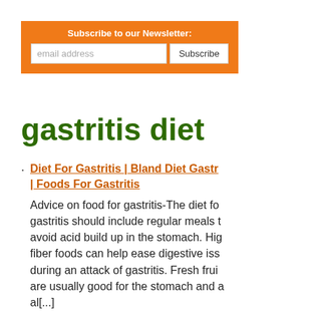[Figure (other): Newsletter subscription box with orange background, email input field, and Subscribe button]
gastritis diet
Diet For Gastritis | Bland Diet Gastritis | Foods For Gastritis
Advice on food for gastritis-The diet for gastritis should include regular meals to avoid acid build up in the stomach. High fiber foods can help ease digestive issues during an attack of gastritis. Fresh fruits are usually good for the stomach and al[...]
Ginger, Yogurt For Gastritis Diet | Green Tea And Milk For Acid Reflux